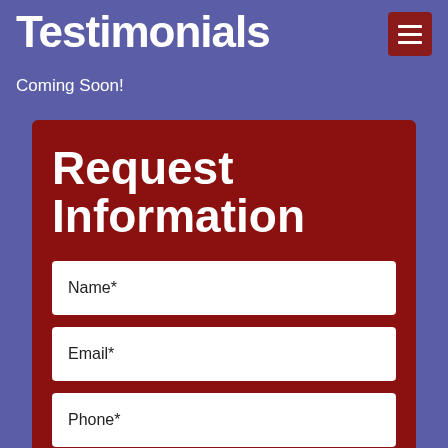Testimonials
[Figure (other): Hamburger menu button (three horizontal lines on dark red background)]
Coming Soon!
Request Information
Name*
Email*
Phone*